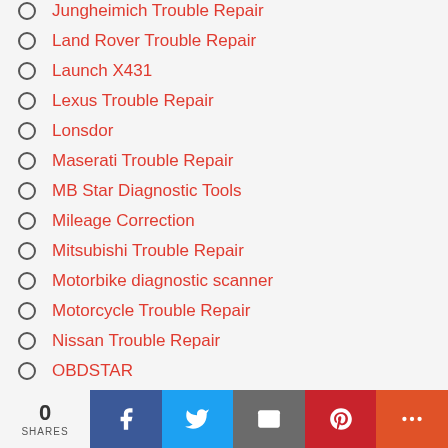Jungheimich Trouble Repair
Land Rover Trouble Repair
Launch X431
Lexus Trouble Repair
Lonsdor
Maserati Trouble Repair
MB Star Diagnostic Tools
Mileage Correction
Mitsubishi Trouble Repair
Motorbike diagnostic scanner
Motorcycle Trouble Repair
Nissan Trouble Repair
OBDSTAR
Peugeot Trouble Repair
0 SHARES | Facebook | Twitter | Email | Pinterest | More